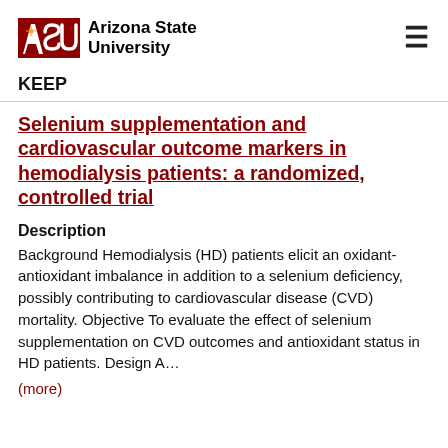ASU Arizona State University
KEEP
Selenium supplementation and cardiovascular outcome markers in hemodialysis patients: a randomized, controlled trial
Description
Background Hemodialysis (HD) patients elicit an oxidant-antioxidant imbalance in addition to a selenium deficiency, possibly contributing to cardiovascular disease (CVD) mortality. Objective To evaluate the effect of selenium supplementation on CVD outcomes and antioxidant status in HD patients. Design A…
(more)